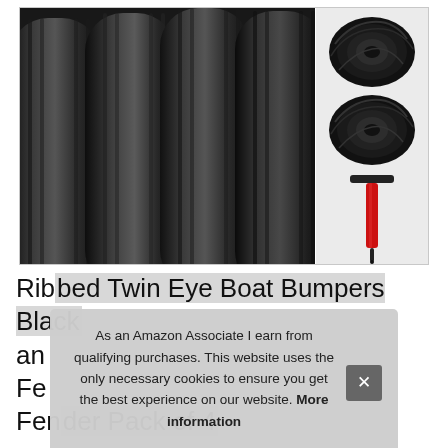[Figure (photo): Product photo showing four black ribbed twin-eye boat bumpers/fenders arranged in a row, with two coiled black ropes and a red hand pump visible on the right side, on a white background with light gray border.]
Ribbed Twin Eye Boat Bumpers Black and... Fender Pack of 4
As an Amazon Associate I earn from qualifying purchases. This website uses the only necessary cookies to ensure you get the best experience on our website. More information